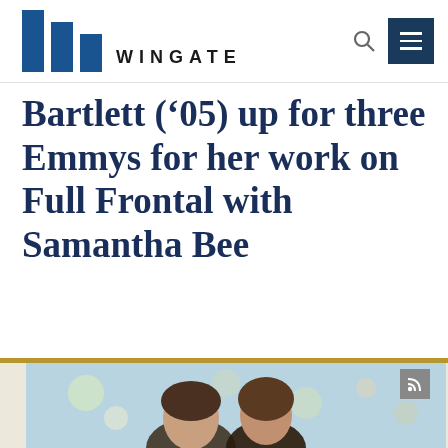WINGATE
Bartlett ('’'05) up for three Emmys for her work on Full Frontal with Samantha Bee
[Figure (photo): Photo of two women in front of a floral background, appearing to be Bartlett and Samantha Bee]